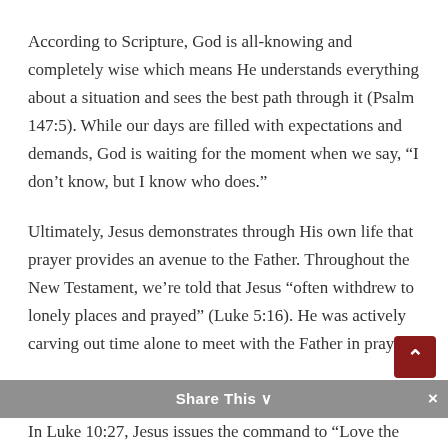According to Scripture, God is all-knowing and completely wise which means He understands everything about a situation and sees the best path through it (Psalm 147:5). While our days are filled with expectations and demands, God is waiting for the moment when we say, “I don’t know, but I know who does.”
Ultimately, Jesus demonstrates through His own life that prayer provides an avenue to the Father. Throughout the New Testament, we’re told that Jesus “often withdrew to lonely places and prayed” (Luke 5:16). He was actively carving out time alone to meet with the Father in prayer.
In Luke 10:27, Jesus issues the command to “Love the